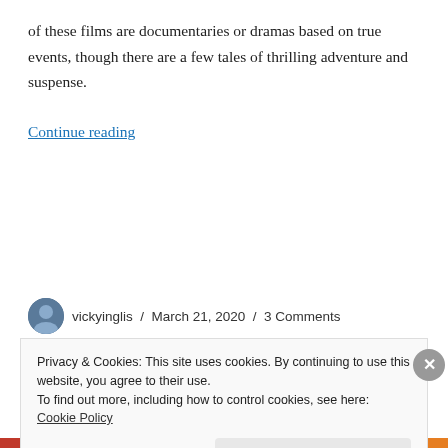of these films are documentaries or dramas based on true events, though there are a few tales of thrilling adventure and suspense.
Continue reading
vickyinglis / March 21, 2020 / 3 Comments
Privacy & Cookies: This site uses cookies. By continuing to use this website, you agree to their use.
To find out more, including how to control cookies, see here: Cookie Policy
Close and accept